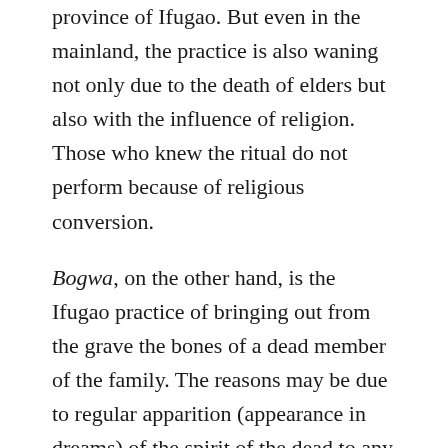province of Ifugao. But even in the mainland, the practice is also waning not only due to the death of elders but also with the influence of religion. Those who knew the ritual do not perform because of religious conversion.
Bogwa, on the other hand, is the Ifugao practice of bringing out from the grave the bones of a dead member of the family. The reasons may be due to regular apparition (appearance in dreams) of the spirit of the dead to any member of the family or maybe a recurring or unexplained sickness of any member of the immediate family. It is most often the parents or grandparents whose bones are exhumed from